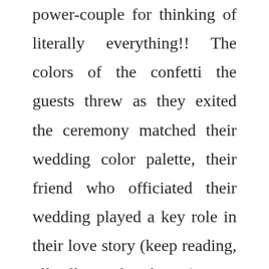power-couple for thinking of literally everything!! The colors of the confetti the guests threw as they exited the ceremony matched their wedding color palette, their friend who officiated their wedding played a key role in their love story (keep reading, I’ll tell ya who she is!), Jess’ maid of honor’s thoughtful speech was so fitting with 26 pieces of advice for the newlyweds, and the special birthday shout outs at the